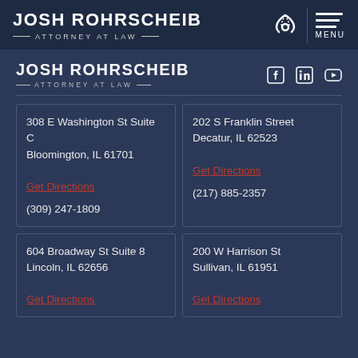JOSH ROHRSCHEIB — ATTORNEY AT LAW — [phone icon] | MENU
JOSH ROHRSCHEIB — ATTORNEY AT LAW —
[Figure (logo): Social media icons: Facebook, LinkedIn, YouTube]
308 E Washington St Suite C
Bloomington, IL 61701
Get Directions
(309) 247-1809
202 S Franklin Street
Decatur, IL 62523
Get Directions
(217) 885-2357
604 Broadway St Suite 8
Lincoln, IL 62656
Get Directions
200 W Harrison St
Sullivan, IL 61951
Get Directions